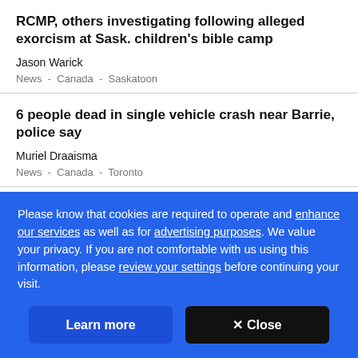RCMP, others investigating following alleged exorcism at Sask. children's bible camp
Jason Warick
News - Canada - Saskatoon
6 people dead in single vehicle crash near Barrie, police say
Muriel Draaisma
News - Canada - Toronto
At age 29, illness shattered my dreams. And I wasn't the
Please know that cookies are required to operate and enhance our services as well as for advertising purposes. We value your privacy. If you are not comfortable with us using this information, please review your settings before continuing your visit.